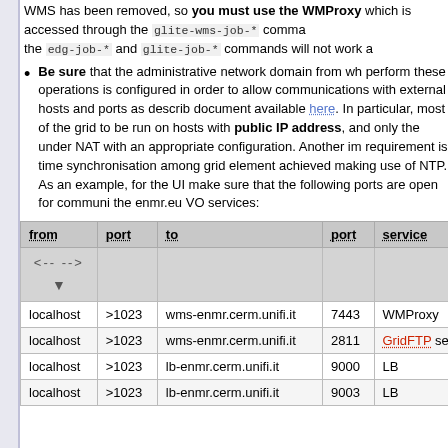WMS has been removed, so you must use the WMProxy which is accessed through the glite-wms-job-* command the edg-job-* and glite-job-* commands will not work a
Be sure that the administrative network domain from which you perform these operations is configured in order to allow communications with external hosts and ports as described in a document available here. In particular, most of the grid services need to be run on hosts with public IP address, and only the UI can run under NAT with an appropriate configuration. Another important requirement is time synchronisation among grid elements, which is achieved making use of NTP. As an example, for the UI you need to make sure that the following ports are open for communication with the enmr.eu VO services:
| from | port | to | port | service |
| --- | --- | --- | --- | --- |
| <-- -->  ▼ |  |  |  |  |
| localhost | >1023 | wms-enmr.cerm.unifi.it | 7443 | WMProxy |
| localhost | >1023 | wms-enmr.cerm.unifi.it | 2811 | GridFTP se |
| localhost | >1023 | lb-enmr.cerm.unifi.it | 9000 | LB |
| localhost | >1023 | lb-enmr.cerm.unifi.it | 9003 | LB |